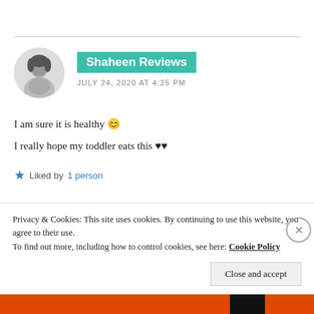Shaheen Reviews
JULY 24, 2020 AT 4:25 PM
I am sure it is healthy 😊
I really hope my toddler eats this ♥♥
★ Liked by 1 person
Privacy & Cookies: This site uses cookies. By continuing to use this website, you agree to their use.
To find out more, including how to control cookies, see here: Cookie Policy
Close and accept